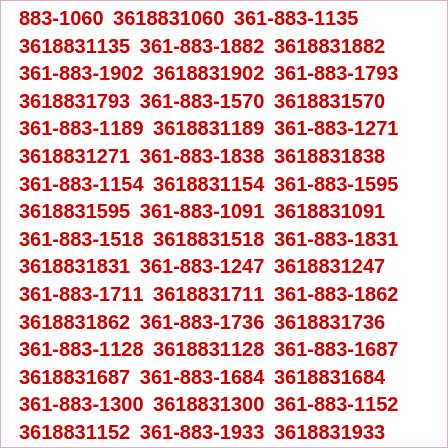883-1060 3618831060 361-883-1135 3618831135 361-883-1882 3618831882 361-883-1902 3618831902 361-883-1793 3618831793 361-883-1570 3618831570 361-883-1189 3618831189 361-883-1271 3618831271 361-883-1838 3618831838 361-883-1154 3618831154 361-883-1595 3618831595 361-883-1091 3618831091 361-883-1518 3618831518 361-883-1831 3618831831 361-883-1247 3618831247 361-883-1711 3618831711 361-883-1862 3618831862 361-883-1736 3618831736 361-883-1128 3618831128 361-883-1687 3618831687 361-883-1684 3618831684 361-883-1300 3618831300 361-883-1152 3618831152 361-883-1933 3618831933 361-883-1853 3618831853 361-883-1451 3618831451 361-883-1444 3618831444 361-883-1053 3618831053 361-883-1092 3618831092 361-883-1566 3618831566 361-883-1068 3618831068 361-883-1278 3618831278 361-883-1240 3618831240 361-